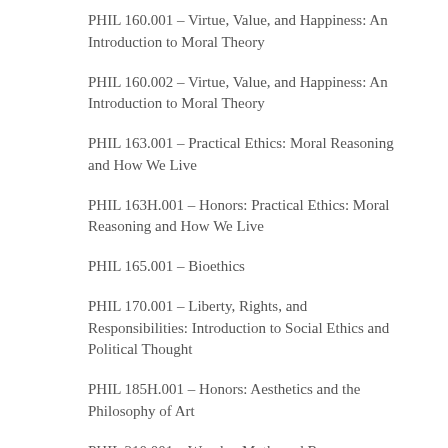PHIL 160.001 – Virtue, Value, and Happiness: An Introduction to Moral Theory
PHIL 160.002 – Virtue, Value, and Happiness: An Introduction to Moral Theory
PHIL 163.001 – Practical Ethics: Moral Reasoning and How We Live
PHIL 163H.001 – Honors: Practical Ethics: Moral Reasoning and How We Live
PHIL 165.001 – Bioethics
PHIL 170.001 – Liberty, Rights, and Responsibilities: Introduction to Social Ethics and Political Thought
PHIL 185H.001 – Honors: Aesthetics and the Philosophy of Art
PHIL 210.001 – Wonder, Myth, and Reason: Introduction to Ancient Greek Science and Philosophy